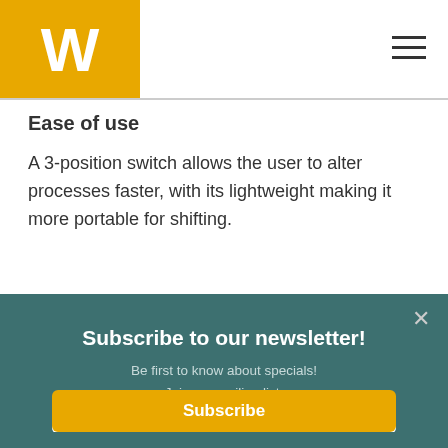[Figure (logo): Yellow square logo with white W letter, with hamburger menu icon on the right]
Ease of use
A 3-position switch allows the user to alter processes faster, with its lightweight making it more portable for shifting.
[Figure (screenshot): Newsletter subscription modal overlay with teal background. Contains title 'Subscribe to our newsletter!', subtitle 'Be first to know about specials! Join our mailing list.', an email input field with placeholder 'Your Email Address', and a yellow Subscribe button. Close (X) button in top right.]